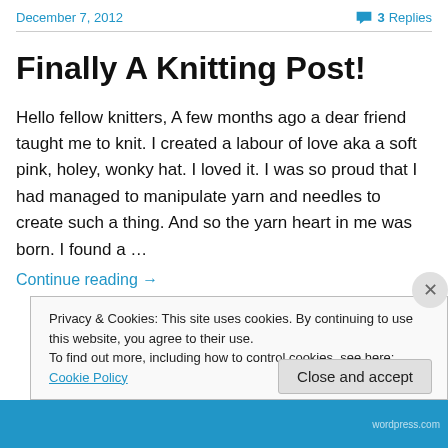December 7, 2012    💬 3 Replies
Finally A Knitting Post!
Hello fellow knitters, A few months ago a dear friend taught me to knit. I created a labour of love aka a soft pink, holey, wonky hat. I loved it. I was so proud that I had managed to manipulate yarn and needles to create such a thing. And so the yarn heart in me was born. I found a …
Continue reading →
Privacy & Cookies: This site uses cookies. By continuing to use this website, you agree to their use.
To find out more, including how to control cookies, see here: Cookie Policy
Close and accept